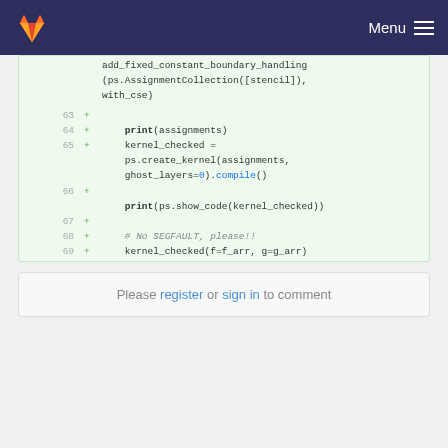Menu
[Figure (screenshot): GitLab code diff viewer showing lines 63-69 of a Python file with added lines (green background). Code includes print(assignments), kernel_checked = ps.create_kernel(assignments, ghost_layers=0).compile(), print(ps.show_code(kernel_checked)), # No SEGFAULT, please!!, kernel_checked(f=f_arr, g=g_arr)]
Please register or sign in to comment